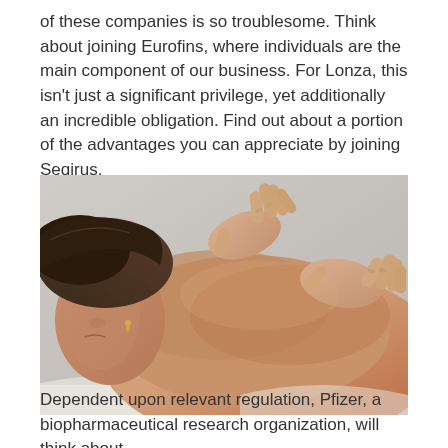of these companies is so troublesome. Think about joining Eurofins, where individuals are the main component of our business. For Lonza, this isn't just a significant privilege, yet additionally an incredible obligation. Find out about a portion of the advantages you can appreciate by joining Seqirus.
[Figure (photo): A woman lying face down receiving a back massage from two hands pressing on her upper back and shoulders.]
Dependent upon relevant regulation, Pfizer, a biopharmaceutical research organization, will think about